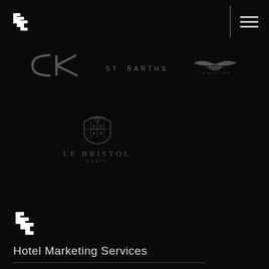[Figure (logo): FF double chevron logo mark, top left, white]
[Figure (logo): Vertical bar separator and hamburger menu icon, top right, grey]
[Figure (logo): CK stylized italic logo in grey]
[Figure (logo): ST BARTHS text logo in grey spaced lettering]
[Figure (logo): Aston Martin / hotel group winged logo in grey]
[Figure (logo): Le Bristol Paris logo with ornate crest and text]
[Figure (logo): FF double chevron logo mark, bottom section, white]
Hotel Marketing Services